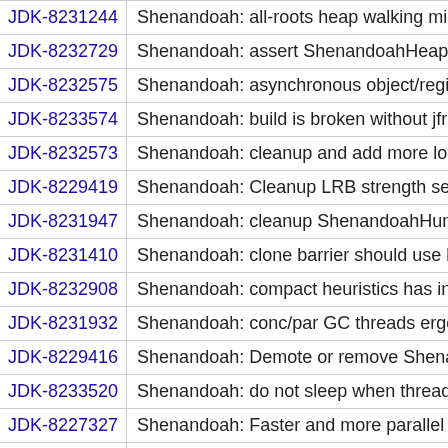| ID | Description |
| --- | --- |
| JDK-8231244 | Shenandoah: all-roots heap walking misses so |
| JDK-8232729 | Shenandoah: assert ShenandoahHeap::cas_o |
| JDK-8232575 | Shenandoah: asynchronous object/region pinn |
| JDK-8233574 | Shenandoah: build is broken without jfr |
| JDK-8232573 | Shenandoah: cleanup and add more logging f |
| JDK-8229419 | Shenandoah: Cleanup LRB strength selector o |
| JDK-8231947 | Shenandoah: cleanup ShenandoahHumongou |
| JDK-8231410 | Shenandoah: clone barrier should use base p |
| JDK-8232908 | Shenandoah: compact heuristics has incorrec |
| JDK-8231932 | Shenandoah: conc/par GC threads ergonomic |
| JDK-8229416 | Shenandoah: Demote or remove Shenandoah |
| JDK-8233520 | Shenandoah: do not sleep when thread is atta |
| JDK-8227327 | Shenandoah: Faster and more parallel tests |
| JDK-8231583 | Shenandoah: Fix register clash in SBSA::reso |
| JDK-8231667 | Shenandoah: Full GC should take empty regio |